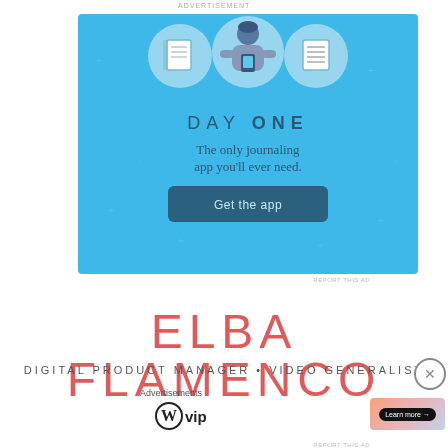ADVERTISEMENT
[Figure (illustration): Day One journaling app advertisement. Light blue background with sparkle stars. Three circular icons at top: notebook, person using phone, and list. Text reads 'DAY ONE - The only journaling app you'll ever need.' with a dark blue 'Get the app' button.]
REPORT THIS AD
ELBA FLAMENCO
DIGITAL PRODUCT MANAGER • VIDEO GENERALIST
Advertisements
[Figure (logo): WordPress VIP logo - circular W icon followed by 'vip' text in bold]
[Figure (illustration): Advertisement banner with gradient background (peach/pink/lavender) containing a black pill-shaped 'Learn more →' button]
REPORT THIS AD